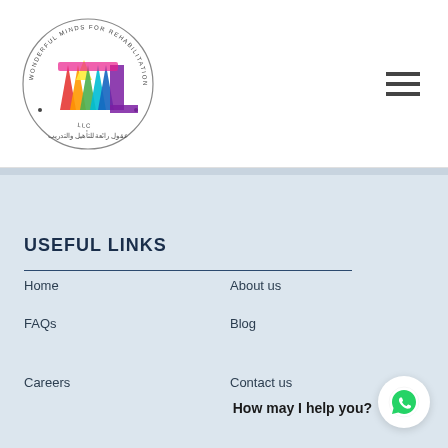[Figure (logo): Wonderful Minds for Rehabilitation and Training LLC circular logo with colorful W letters in red, orange, yellow, green, blue, purple and Arabic text]
[Figure (other): Hamburger menu icon (three horizontal lines)]
USEFUL LINKS
Home
About us
FAQs
Blog
Careers
Contact us
How may I help you?